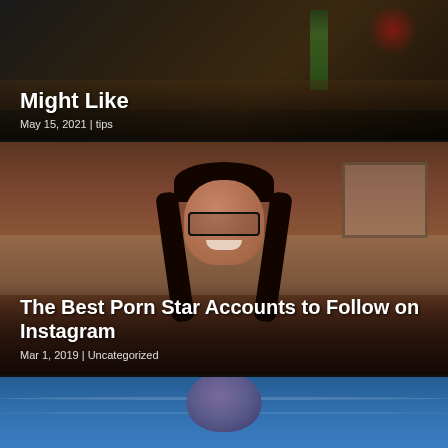[Figure (photo): Top card - dark background with partial image, article thumbnail]
Might Like
May 15, 2021 | tips
[Figure (photo): Middle card - woman with dark hair in pigtails, glasses, smiling, indoor setting]
The Best Porn Star Accounts to Follow on Instagram
Mar 1, 2019 | Uncategorized
[Figure (photo): Bottom card - partial image of person's head near water/pool]